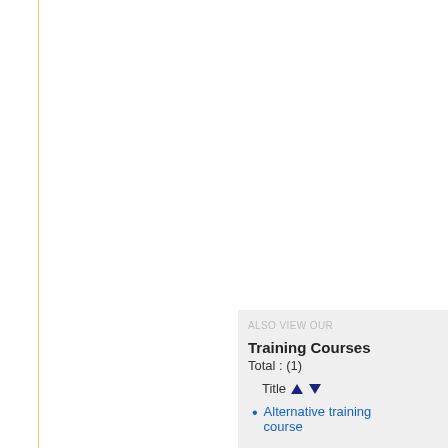ALSO VIEW OUR
Training Courses
Total : (1)
Title ▲▼
Alternative training course
Articles
(Total : 362)
Title ▲▼
#1 Liquid Vitamin Myth
'Pretty to Gorgeo...